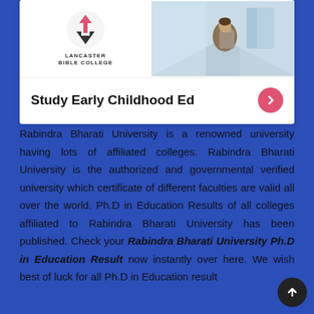[Figure (logo): Lancaster Bible College logo with stylized cross/arrow icon and text LANCASTER BIBLE COLLEGE]
[Figure (photo): Photo of a student with a backpack in a hallway/corridor]
Study Early Childhood Ed
Rabindra Bharati University is a renowned university having lots of affiliated colleges. Rabindra Bharati University is the authorized and governmental verified university which certificate of different faculties are valid all over the world. Ph.D in Education Results of all colleges affiliated to Rabindra Bharati University has been published. Check your Rabindra Bharati University Ph.D in Education Result now instantly over here. We wish best of luck for all Ph.D in Education result